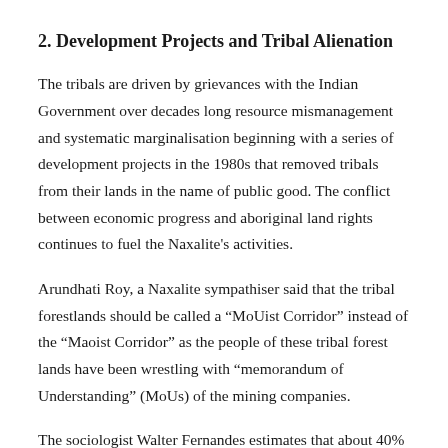2. Development Projects and Tribal Alienation
The tribals are driven by grievances with the Indian Government over decades long resource mismanagement and systematic marginalisation beginning with a series of development projects in the 1980s that removed tribals from their lands in the name of public good. The conflict between economic progress and aboriginal land rights continues to fuel the Naxalite's activities.
Arundhati Roy, a Naxalite sympathiser said that the tribal forestlands should be called a “MoUist Corridor” instead of the “Maoist Corridor” as the people of these tribal forest lands have been wrestling with “memorandom of Understanding” (MoUs) of the mining companies.
The sociologist Walter Fernandes estimates that about 40% of all those displaced by government projects are of tribal origin.